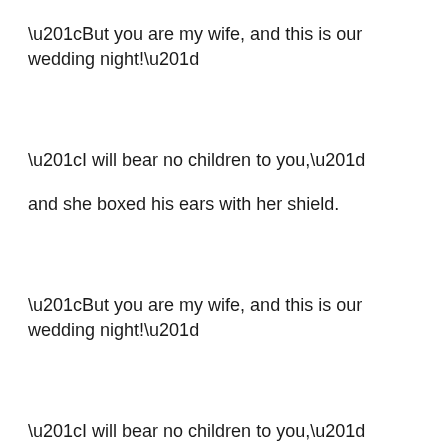“But you are my wife, and this is our wedding night!”
“I will bear no children to you,”
and she boxed his ears with her shield.
“But you are my wife, and this is our wedding night!”
“I will bear no children to you,”
and she sliced his snout with her knife….